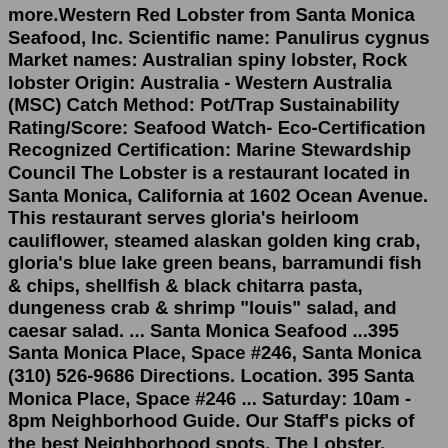more.Western Red Lobster from Santa Monica Seafood, Inc. Scientific name: Panulirus cygnus Market names: Australian spiny lobster, Rock lobster Origin: Australia - Western Australia (MSC) Catch Method: Pot/Trap Sustainability Rating/Score: Seafood Watch- Eco-Certification Recognized Certification: Marine Stewardship Council The Lobster is a restaurant located in Santa Monica, California at 1602 Ocean Avenue. This restaurant serves gloria's heirloom cauliflower, steamed alaskan golden king crab, gloria's blue lake green beans, barramundi fish & chips, shellfish & black chitarra pasta, dungeness crab & shrimp "louis" salad, and caesar salad. ... Santa Monica Seafood ...395 Santa Monica Place, Space #246, Santa Monica (310) 526-9686 Directions. Location. 395 Santa Monica Place, Space #246 ... Saturday: 10am - 8pm Neighborhood Guide. Our Staff's picks of the best Neighborhood spots. The Lobster. Seafood. Tar & Roses. American. Blue Plate Oysterette. Seafood. View More Spots. Visit Us. Sign up for emails. Plus ...1602 Ocean Ave...